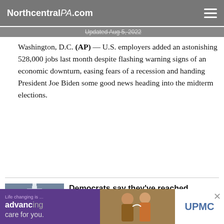NorthcentralPA.com
Updated Aug 5, 2022
Washington, D.C. (AP) — U.S. employers added an astonishing 528,000 jobs last month despite flashing warning signs of an economic downturn, easing fears of a recession and handing President Joe Biden some good news heading into the midterm elections.
[Figure (photo): U.S. News thumbnail image showing Capitol building]
Democrats say they've reached agreement on economic package
ALAN FRAM - Associated Press
Updated A...
Washingto... agreed to ... marquee e... late Thurs... pushing on...
[Figure (screenshot): Video overlay: Top Videos: - Johan Oviedo makes Pirat... with close button and baseball player photo]
[Figure (photo): Ad banner: Life changing is ... advancing care for you. UPMC]